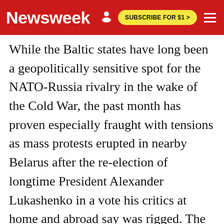Newsweek
While the Baltic states have long been a geopolitically sensitive spot for the NATO-Russia rivalry in the wake of the Cold War, the past month has proven especially fraught with tensions as mass protests erupted in nearby Belarus after the re-election of longtime President Alexander Lukashenko in a vote his critics at home and abroad say was rigged. The 26-year leader has reacted by cracking down on demonstrations, sending troops to his borders and reaching out to Russian President Vladimir Putin for support.